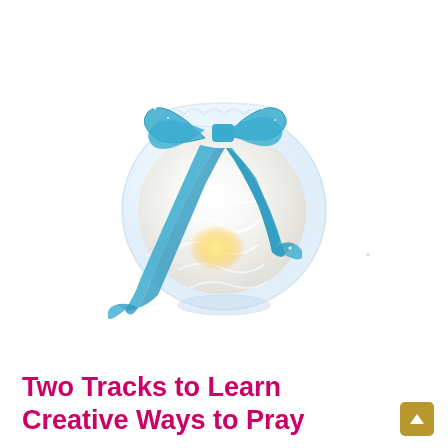[Figure (photo): A clear glass bowl vase filled with white feathers or angel hair material, with a glowing candle light inside. The bowl is decorated with a large blue sparkle/glitter ribbon tied in a bow around the neck, with long ribbon tails hanging down. The top of the bowl has a white lace ruffle.]
Two Tracks to Learn Creative Ways to Pray